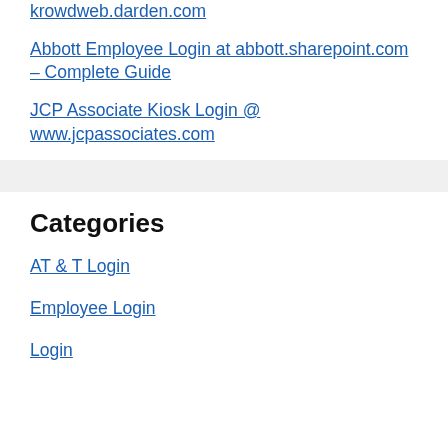krowdweb.darden.com
Abbott Employee Login at abbott.sharepoint.com – Complete Guide
JCP Associate Kiosk Login @ www.jcpassociates.com
Categories
AT & T Login
Employee Login
Login